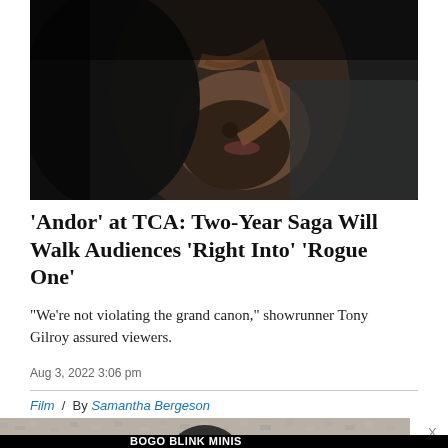[Figure (photo): Close-up photo of a bearded man in dark clothing, face partially visible, dark moody lighting — likely Diego Luna as Cassian Andor]
'Andor' at TCA: Two-Year Saga Will Walk Audiences 'Right Into' 'Rogue One'
“We’re not violating the grand canon,” showrunner Tony Gilroy assured viewers.
Aug 3, 2022 3:06 pm
Film / By Samantha Bergeson
[Figure (photo): Partial image of another photo below, and an advertisement: BOGO BLINK MINIS GET YOURS NOW with SPY logo on yellow background]